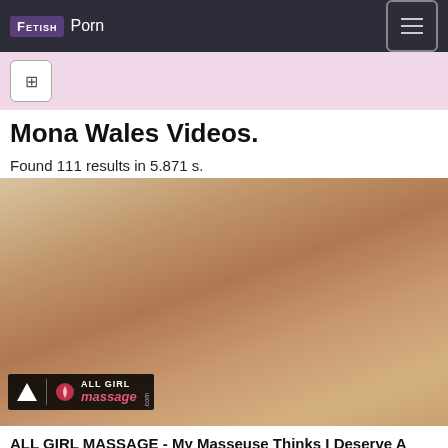FETISH Porn
Mona Wales Videos. Found 111 results in 5.871 s.
[Figure (photo): Thumbnail image for adult video from All Girl Massage website, showing two women]
ALL GIRL MASSAGE - My Masseuse Thinks I Deserve A Good Spanking